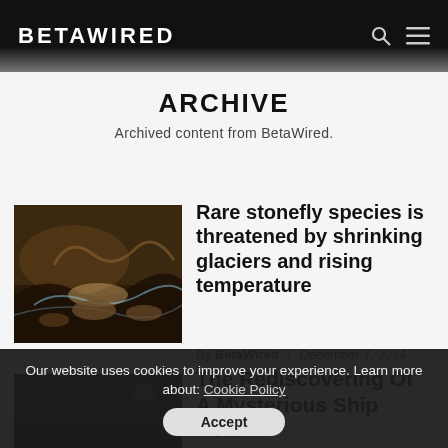BETAWIRED
ARCHIVE
Archived content from BetaWired.
[Figure (photo): Close-up photo of a stonefly insect on rocks near water]
Rare stonefly species is threatened by shrinking glaciers and rising temperature
By BetaWired | December 7, 2014
[Figure (photo): Partial view of a nighttime scene with palm trees and a mysterious ship]
The Rediscovering Of A Mysterious Ship Near
Our website uses cookies to improve your experience. Learn more about: Cookie Policy
Accept